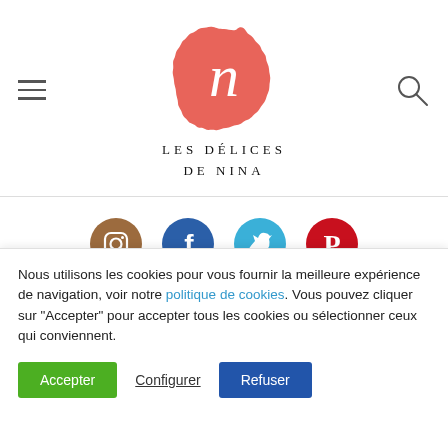[Figure (logo): Les Délices de Nina logo: a coral/salmon colored scalloped circle badge with a cursive white 'N' in the center, and the text 'LES DÉLICES DE NINA' below in spaced serif capitals]
Muffins Salés
Nous utilisons les cookies pour vous fournir la meilleure expérience de navigation, voir notre politique de cookies. Vous pouvez cliquer sur "Accepter" pour accepter tous les cookies ou sélectionner ceux qui conviennent.
Accepter
Configurer
Refuser